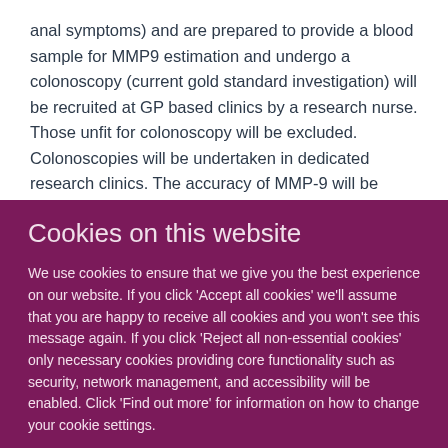anal symptoms) and are prepared to provide a blood sample for MMP9 estimation and undergo a colonoscopy (current gold standard investigation) will be recruited at GP based clinics by a research nurse. Those unfit for colonoscopy will be excluded. Colonoscopies will be undertaken in dedicated research clinics. The accuracy of MMP-9 will be assessed by comparing the MMP-9 level with the colonoscopy findings, and the combination of factors (e.g. symptoms and MMP-9 level)
Cookies on this website
We use cookies to ensure that we give you the best experience on our website. If you click 'Accept all cookies' we'll assume that you are happy to receive all cookies and you won't see this message again. If you click 'Reject all non-essential cookies' only necessary cookies providing core functionality such as security, network management, and accessibility will be enabled. Click 'Find out more' for information on how to change your cookie settings.